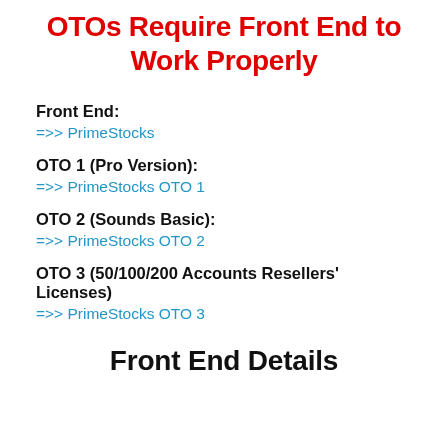OTOs Require Front End to Work Properly
Front End:
=>> PrimeStocks
OTO 1 (Pro Version):
=>> PrimeStocks OTO 1
OTO 2 (Sounds Basic):
=>> PrimeStocks OTO 2
OTO 3 (50/100/200 Accounts Resellers' Licenses)
=>> PrimeStocks OTO 3
Front End Details